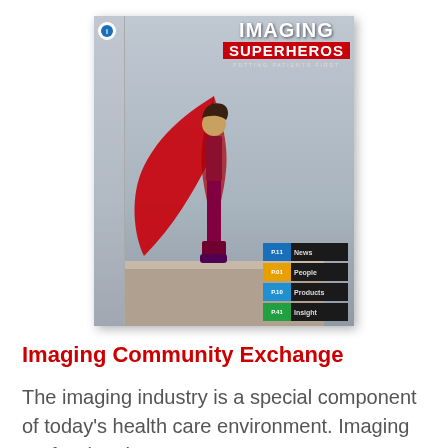[Figure (illustration): Magazine cover titled 'Imaging Superheros – Putting Patients First' showing a person wearing a red cape standing on a ledge, with a sidebar listing News (p.11), People (p.01), Products (p.10), Insight (p.41)]
Imaging Community Exchange
The imaging industry is a special component of today's health care environment. Imaging professionals use